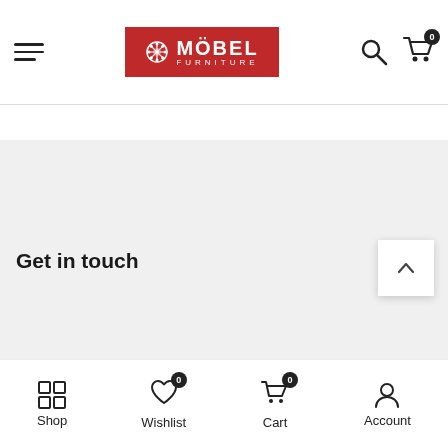Möbel Furniture navigation bar with hamburger menu, logo, search and cart icons
[Figure (screenshot): Loading spinner animation (infinity/lemniscate shape) in teal/cyan color, appearing twice in the main content area]
Get in touch
Shop | Wishlist (0) | Cart (0) | Account